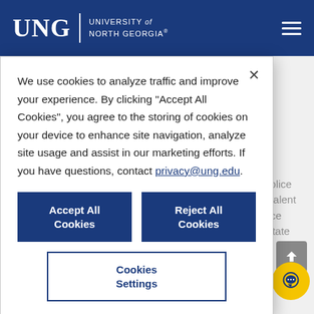UNG | University of North Georgia
UNG > About Us > Public Safety
We use cookies to analyze traffic and improve your experience. By clicking “Accept All Cookies”, you agree to the storing of cookies on your device to enhance site navigation, analyze site usage and assist in our marketing efforts. If you have questions, contact privacy@ung.edu.
Accept All Cookies
Reject All Cookies
Cookies Settings